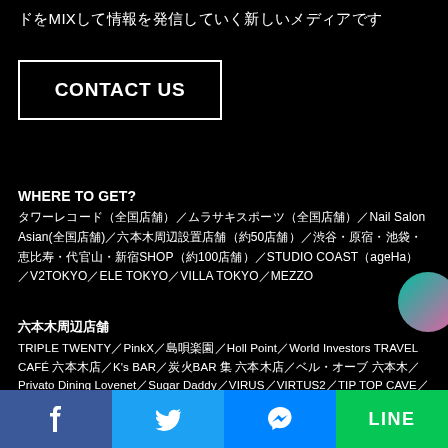ドをMIXして情報を発信していく新しいメディアです
CONTACT US
WHERE TO GET?
タワーレコード（全国店舗）／ムラサキスポーツ（全国店舗）／Nail Salon Asian(全国店舗)／六本木周辺設置店舗（約50店舗）／渋谷・原宿・池袋・恵比寿・代官山・新宿SHOP（約100店舗）／STUDIO COAST（ageHa）／V2TOKYO／ELE TOKYO／VILLA TOKYO／MEZZO
六本木周辺店舗
TRIPLE TWENTY／PinkX／島唄楽園／Holl Point／World Investors TRAVEL CAFÉ 六本木店／K's BAR／炭火BAR 集 六本木店／ベル・オーブ 六本木／Privato Dining Lovenet／Sugar Daddy／VIRUS／VIRTUS2／TIP TOP CAVE／TIP TOP you／TIP TOP／Harlem freak／Spunky GOLD／Spunky PLATINUM／Hot Staff／BAR WATER POT／アポットチョイス 六本木店／ヘアメイク・着付け専門店 GEKKABIJIN 本店／Cecile Aoki New
[Figure (infographic): Social media share bar with Facebook (blue), Twitter (light blue), Messenger (blue), and LINE (green) icons]